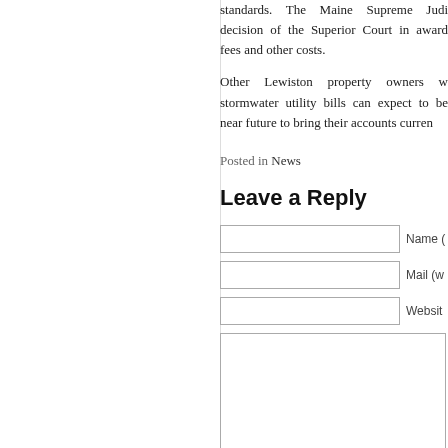standards. The Maine Supreme Judicial Court affirmed the decision of the Superior Court in awarding the plaintiff attorney fees and other costs.
Other Lewiston property owners who have not paid their stormwater utility bills can expect to be contacted in the near future to bring their accounts current.
Posted in News
Leave a Reply